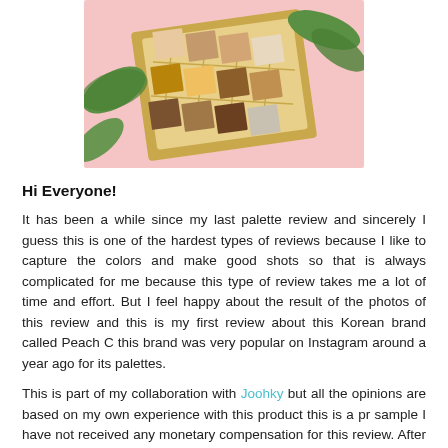[Figure (photo): Photo of a gold eyeshadow palette with earthy tones, surrounded by green leaves on a pink background.]
Hi Everyone!
It has been a while since my last palette review and sincerely I guess this is one of the hardest types of reviews because I like to capture the colors and make good shots so that is always complicated for me because this type of review takes me a lot of time and effort. But I feel happy about the result of the photos of this review and this is my first review about this Korean brand called Peach C this brand was very popular on Instagram around a year ago for its palettes.
This is part of my collaboration with Joohky but all the opinions are based on my own experience with this product this is a pr sample I have not received any monetary compensation for this review. After that disclaimer I must confess I fall in love with this palette